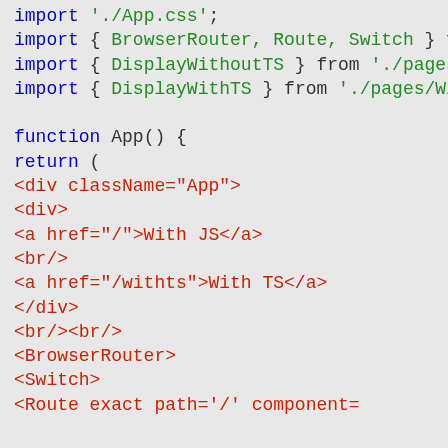Code snippet showing JavaScript/React imports and App function with JSX including BrowserRouter, Switch, Route components